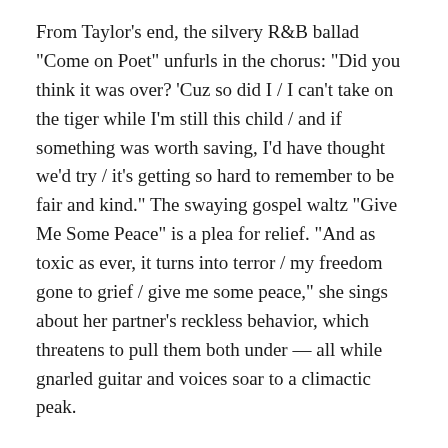From Taylor's end, the silvery R&B ballad "Come on Poet" unfurls in the chorus: "Did you think it was over? 'Cuz so did I / I can't take on the tiger while I'm still this child / and if something was worth saving, I'd have thought we'd try / it's getting so hard to remember to be fair and kind." The swaying gospel waltz "Give Me Some Peace" is a plea for relief. "And as toxic as ever, it turns into terror / my freedom gone to grief / give me some peace," she sings about her partner's reckless behavior, which threatens to pull them both under — all while gnarled guitar and voices soar to a climactic peak.
And on "Rebecca Casanova," when Taylor sings, "And I don't wanna be the one you call 'the girl who brought me down' / and I don't wanna be guilty of knowing I could have let you out to find her sooner," the song's tick-tock guitar